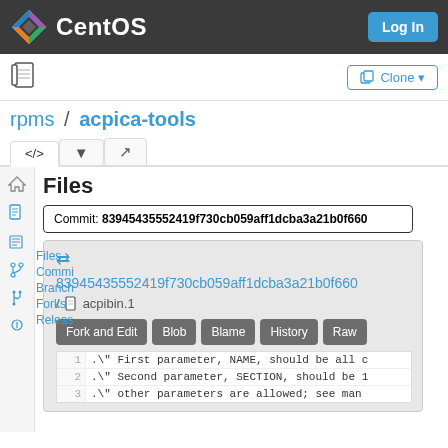CentOS  Log In
Clone
rpms / acpica-tools
Files
Commit: 83945435552419f730cb059aff1dcba3a21b0f660
83945435552419f730cb059aff1dcba3a21b0f660 / acpibin.1
Fork and Edit  Blob  Blame  History  Raw
1  .\" First parameter, NAME, should be all c
2  .\" Second parameter, SECTION, should be 1
3  .\" other parameters are allowed; see man